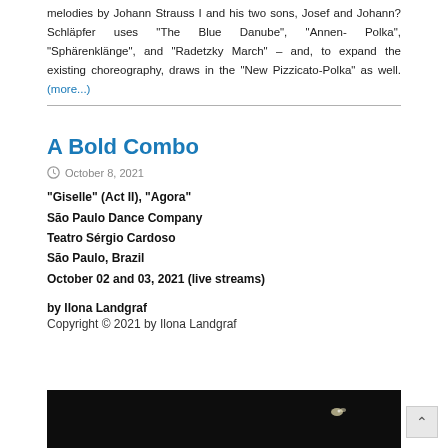melodies by Johann Strauss I and his two sons, Josef and Johann? Schläpfer uses "The Blue Danube", "Annen- Polka", "Sphärenklänge", and "Radetzky March" – and, to expand the existing choreography, draws in the "New Pizzicato-Polka" as well. (more...)
A Bold Combo
October 8, 2021
"Giselle" (Act II), "Agora"
São Paulo Dance Company
Teatro Sérgio Cardoso
São Paulo, Brazil
October 02 and 03, 2021 (live streams)
by Ilona Landgraf
Copyright © 2021 by Ilona Landgraf
[Figure (photo): Dark performance photo strip at the bottom of the page, showing a dark stage with minimal light and a small bright element visible.]